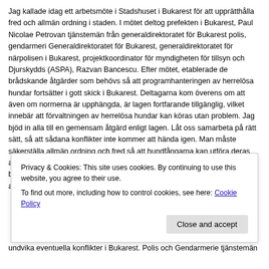Jag kallade idag ett arbetsmöte i Stadshuset i Bukarest för att upprätthålla fred och allmän ordning i staden. I mötet deltog prefekten i Bukarest, Paul Nicolae Petrovan tjänstemän från generaldirektoratet för Bukarest polis, gendarmeri Generaldirektoratet för Bukarest, generaldirektoratet för närpolisen i Bukarest, projektkoordinator för myndigheten för tillsyn och Djurskydds (ASPA), Razvan Bancescu. Efter mötet, etablerade de brådskande åtgärder som behövs så att programhanteringen av herrelösa hundar fortsätter i gott skick i Bukarest. Deltagarna kom överens om att även om normerna är upphängda, är lagen fortfarande tillgänglig, vilket innebär att förvaltningen av herrelösa hundar kan köras utan problem. Jag bjöd in alla till en gemensam åtgärd enligt lagen. Låt oss samarbeta på rätt sätt, så att sådana konflikter inte kommer att hända igen. Man måste säkerställa allmän ordning och fred så att hundfångarna kan utföra deras arbete utan rädsla för att bli överfallna av så kallade djurvänner. Demokrati betyder inte allmän oordning. Prefekten föreslog Paul Nicolae Petrovan att alla åtgärder ska registreras. Alla misshandlade hundfångare ska
Privacy & Cookies: This site uses cookies. By continuing to use this website, you agree to their use. To find out more, including how to control cookies, see here: Cookie Policy
undvika eventuella konflikter i Bukarest. Polis och Gendarmerie tjänstemän